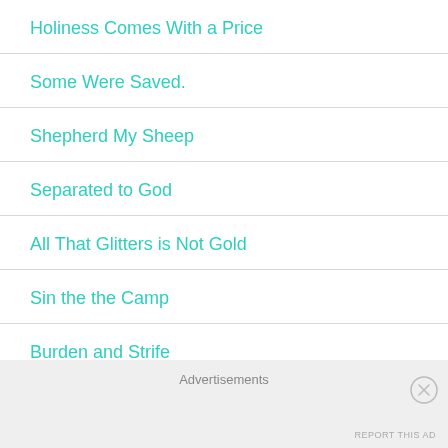Holiness Comes With a Price
Some Were Saved.
Shepherd My Sheep
Separated to God
All That Glitters is Not Gold
Sin the the Camp
Burden and Strife
Advertisements